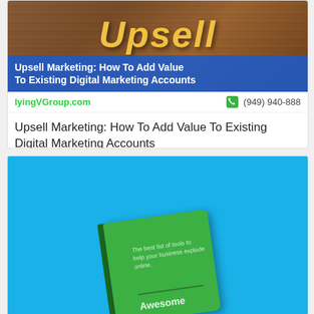[Figure (screenshot): Blog post card showing 'Upsell' wooden letter tiles on a wooden background, with a blue banner overlay reading 'Upsell Marketing: How To Add Value To Existing Digital Marketing Accounts', with FlyingVGroup.com URL and phone number (949) 940-888, followed by article title and date AUGUST 19, 2022]
[Figure (photo): Blue background card with a green book/notebook tilted at an angle, with text 'The best list of tools to help your business explode online.' and 'Awesome' visible on the cover]